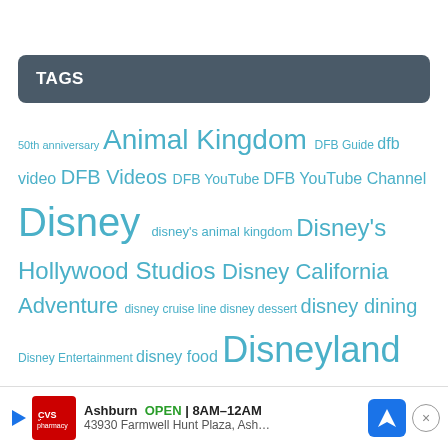TAGS
50th anniversary Animal Kingdom DFB Guide dfb video DFB Videos DFB YouTube DFB YouTube Channel Disney disney's animal kingdom Disney's Hollywood Studios Disney California Adventure disney cruise line disney dessert disney dining Disney Entertainment disney food Disneyland Disneyland Resort Disney merch Disney merchandise disney news disney parks disney resorts disney snacks disney springs disney treats Disney World Disney World reopening Downtown Disney Epcot halloween Hollywood Studios magic kingdom merch … Snacks …